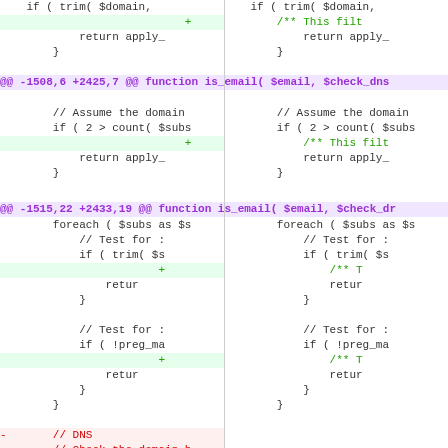[Figure (screenshot): Code diff view showing two columns (before/after) of PHP code changes. Contains three diff hunks with line additions (green) and removals (red), and hunk headers in purple on light purple background. Shows changes to is_email() function.]